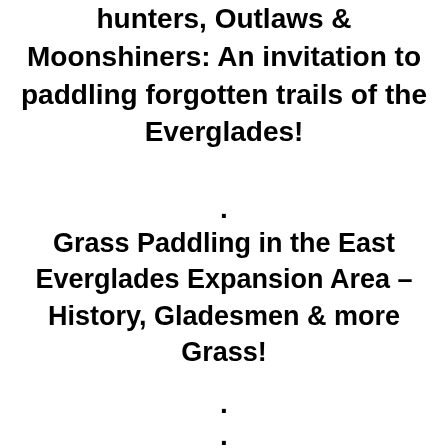hunters, Outlaws & Moonshiners: An invitation to paddling forgotten trails of the Everglades!
.
Grass Paddling in the East Everglades Expansion Area – History, Gladesmen & more Grass!
.
.